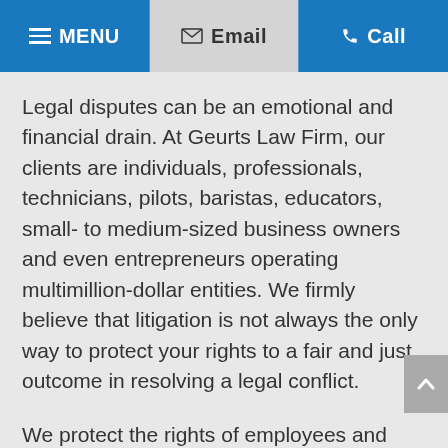MENU  Email  Call
Legal disputes can be an emotional and financial drain. At Geurts Law Firm, our clients are individuals, professionals, technicians, pilots, baristas, educators, small- to medium-sized business owners and even entrepreneurs operating multimillion-dollar entities. We firmly believe that litigation is not always the only way to protect your rights to a fair and just outcome in resolving a legal conflict.
We protect the rights of employees and